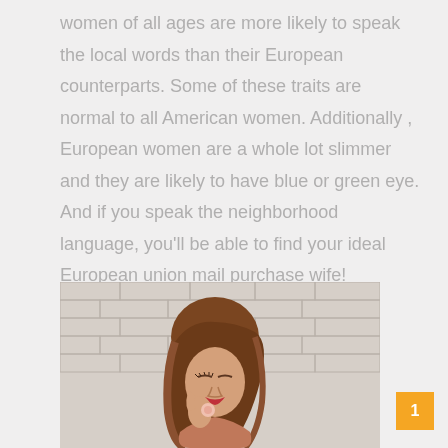women of all ages are more likely to speak the local words than their European counterparts. Some of these traits are normal to all American women. Additionally , European women are a whole lot slimmer and they are likely to have blue or green eye. And if you speak the neighborhood language, you'll be able to find your ideal European union mail purchase wife!
[Figure (photo): A young woman with wavy auburn hair posing against a white brick wall, wearing makeup with red lips, looking down with eyes nearly closed.]
1